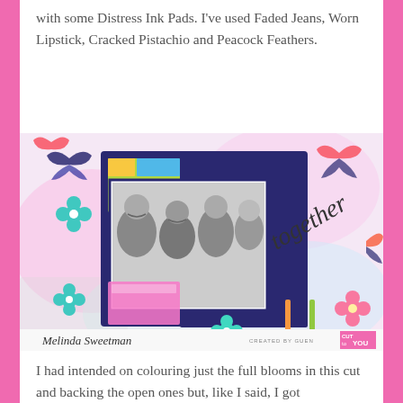with some Distress Ink Pads. I've used Faded Jeans, Worn Lipstick, Cracked Pistachio and Peacock Feathers.
[Figure (photo): A colorful scrapbook page titled 'together' featuring a black-and-white photo of four women smiling, surrounded by decorative elements including butterflies, flowers, and colorful patterned papers in pink, blue, green and orange. Attribution reads 'Melinda Sweetman' and 'CREATED BY GUEN' with 'CUT to YOU' logo.]
I had intended on colouring just the full blooms in this cut and backing the open ones but, like I said, I got